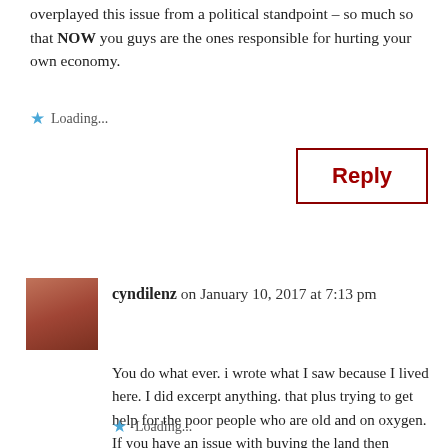overplayed this issue from a political standpoint – so much so that NOW you guys are the ones responsible for hurting your own economy.
Loading...
Reply
cyndilenz on January 10, 2017 at 7:13 pm
You do what ever. i wrote what I saw because I lived here. I did excerpt anything. that plus trying to get help for the poor people who are old and on oxygen. If you have an issue with buying the land then maybe you should Joe negron and talk to him. Surely your not against him.
Loading...